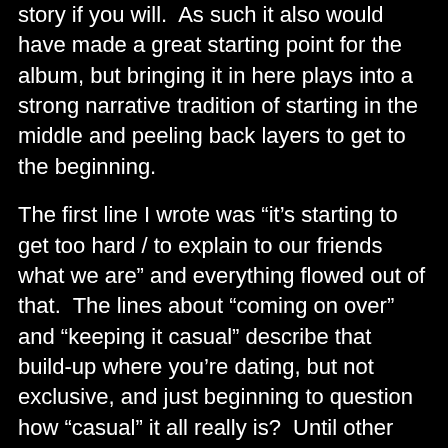story if you will.  As such it also would have made a great starting point for the album, but bringing it in here plays into a strong narrative tradition of starting in the middle and peeling back layers to get to the beginning.
The first line I wrote was “it’s starting to get too hard / to explain to our friends what we are” and everything flowed out of that.  The lines about “coming on over” and “keeping it casual” describe that build-up where you’re dating, but not exclusive, and just beginning to question how “casual” it all really is?  Until other people start commenting on it, your own thoughts can sleep quietly, reluctant to burst out and crystallize the obvious.  I’m sure part of that is wondering if the